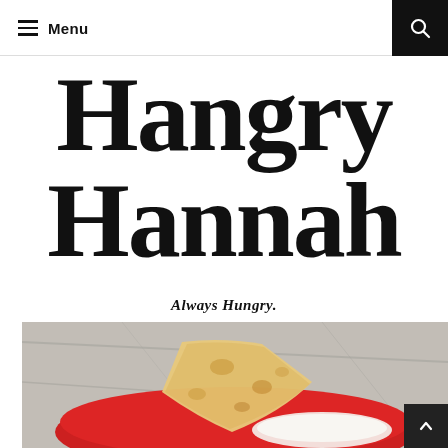Menu
Hangry Hannah
Always Hungry.
[Figure (photo): Food photo showing a folded flatbread or quesadilla on a red plate, with rice visible, on a granite countertop background]